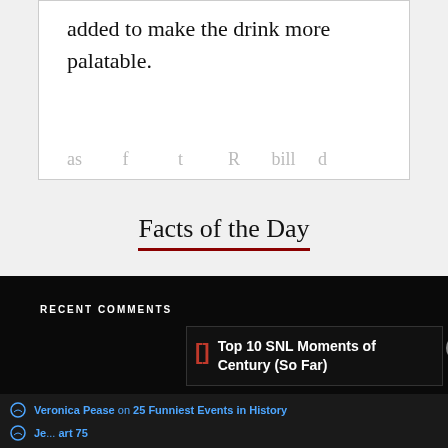added to make the drink more palatable.
Facts of the Day
RECENT COMMENTS
Top 10 SNL Moments of Century (So Far)
Veronica Pease on 25 Funniest Events in History
Je... art 75
Your Pet's Summer Gear Is Here
Petco
Close X